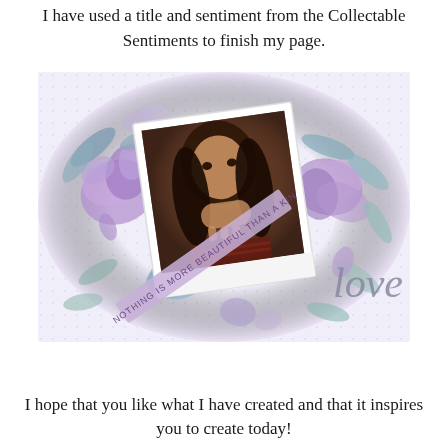I have used a title and sentiment from the Collectable Sentiments to finish my page.
[Figure (photo): A scrapbooking layout on a white/light background featuring a polaroid-style sepia photo of a young girl with long dark hair resting her chin on her hand, surrounded by watercolor purple and blue floral and leaf embellishments. A diagonal purple ribbon banner reads 'NOTHING IS MORE BEAUTIFUL THAN A KIN...' and a grey script word 'love' is visible in the lower right corner.]
I hope that you like what I have created and that it inspires you to create today!